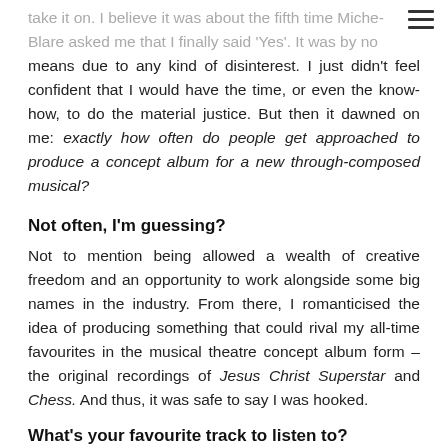take it on. I believe it was about the fifth time Miche- Blare asked me that I finally said 'Yes'. It was by no means due to any kind of disinterest. I just didn't feel confident that I would have the time, or even the know-how, to do the material justice. But then it dawned on me: exactly how often do people get approached to produce a concept album for a new through-composed musical?
Not often, I'm guessing?
Not to mention being allowed a wealth of creative freedom and an opportunity to work alongside some big names in the industry. From there, I romanticised the idea of producing something that could rival my all-time favourites in the musical theatre concept album form – the original recordings of Jesus Christ Superstar and Chess. And thus, it was safe to say I was hooked.
What's your favourite track to listen to?